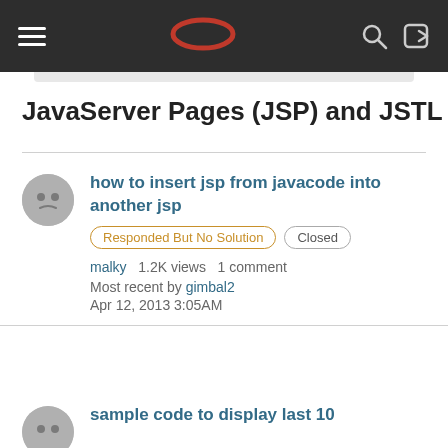Oracle Community Navigation Bar
JavaServer Pages (JSP) and JSTL
how to insert jsp from javacode into another jsp — Responded But No Solution, Closed — malky 1.2K views 1 comment — Most recent by gimbal2 — Apr 12, 2013 3:05AM
sample code to display last 10